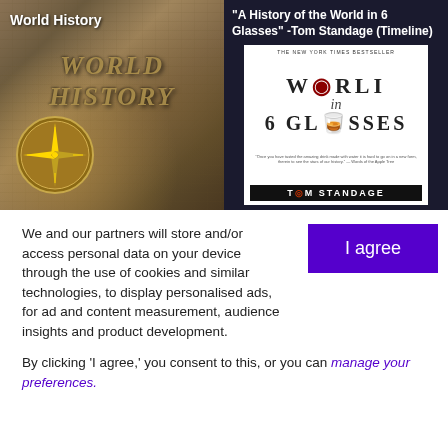[Figure (photo): Split image: left side shows a vintage world map background with a golden compass and large italic text 'WORLD HISTORY', labeled 'World History'; right side shows the book cover of 'A History of the World in 6 Glasses' by Tom Standage with the label text overlaid]
We and our partners will store and/or access personal data on your device through the use of cookies and similar technologies, to display personalised ads, for ad and content measurement, audience insights and product development.
By clicking 'I agree,' you consent to this, or you can manage your preferences.